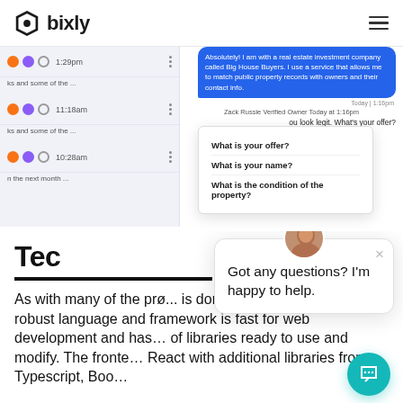bixly
[Figure (screenshot): Screenshot of a Bixly web application showing a chat interface with a left sidebar listing conversations (1:29pm, 11:18am, 10:28am) and a right chat panel showing a blue message bubble saying 'Absolutely! I am with a real estate investment company called Big House Buyers. I use a service that allows me to match public property records with owners and their contact info.', a timestamp 'Today | 1:16pm', sender 'Zack Russie Verified Owner Today at 1:16pm', a reply 'ou look legit. What's your offer?', and a dropdown menu showing 'What is your offer?', 'What is your name?', 'What is the condition of the property?']
Tec
As with many of the pro... is done in Python/Django. This robust language and framework is fast for web development and has... of libraries ready to use and modify. The fronte... React with additional libraries from Typescript, Boo...
[Figure (screenshot): Chat widget overlay showing a woman's avatar photo, a close button X, and the message 'Got any questions? I'm happy to help.' with a teal chat button in the bottom right corner.]